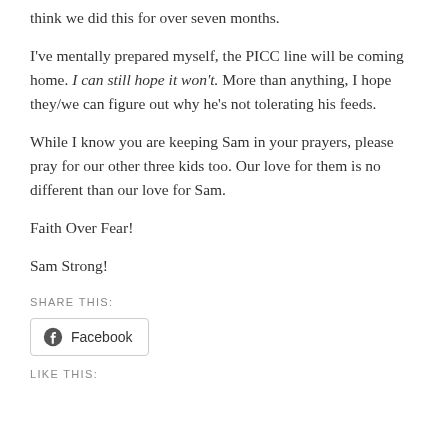think we did this for over seven months.
I've mentally prepared myself, the PICC line will be coming home. I can still hope it won't. More than anything, I hope they/we can figure out why he's not tolerating his feeds.
While I know you are keeping Sam in your prayers, please pray for our other three kids too. Our love for them is no different than our love for Sam.
Faith Over Fear!
Sam Strong!
SHARE THIS:
[Figure (screenshot): Facebook share button with Facebook logo icon and text 'Facebook']
LIKE THIS: